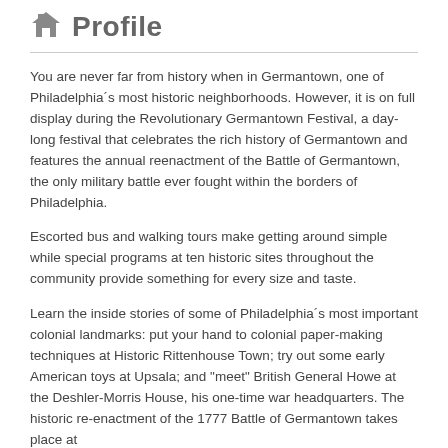Profile
You are never far from history when in Germantown, one of Philadelphia´s most historic neighborhoods. However, it is on full display during the Revolutionary Germantown Festival, a day-long festival that celebrates the rich history of Germantown and features the annual reenactment of the Battle of Germantown, the only military battle ever fought within the borders of Philadelphia.
Escorted bus and walking tours make getting around simple while special programs at ten historic sites throughout the community provide something for every size and taste.
Learn the inside stories of some of Philadelphia´s most important colonial landmarks: put your hand to colonial paper-making techniques at Historic Rittenhouse Town; try out some early American toys at Upsala; and "meet" British General Howe at the Deshler-Morris House, his one-time war headquarters. The historic re-enactment of the 1777 Battle of Germantown takes place at...